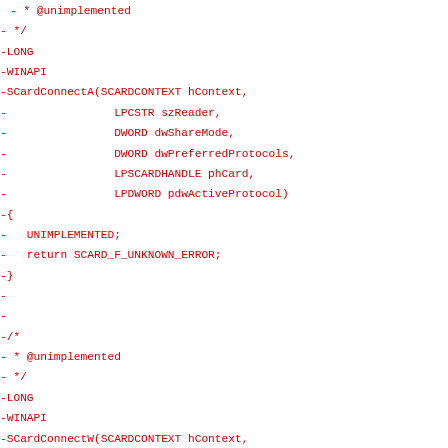- * @unimplemented
- */
-LONG
-WINAPI
-SCardConnectA(SCARDCONTEXT hContext,
-                LPCSTR szReader,
-                DWORD dwShareMode,
-                DWORD dwPreferredProtocols,
-                LPSCARDHANDLE phCard,
-                LPDWORD pdwActiveProtocol)
-{
-   UNIMPLEMENTED;
-   return SCARD_F_UNKNOWN_ERROR;
-}
-
-
-/*
- * @unimplemented
- */
-LONG
-WINAPI
-SCardConnectW(SCARDCONTEXT hContext,
-                LPCWSTR szReader,
-                DWORD dwShareMode,
-                DWORD dwPreferredProtocols,
-                LPSCARDHANDLE phCard,
-                LPDWORD pdwActiveProtocol)
-{
-   UNIMPLEMENTED;
-   return SCARD_F_UNKNOWN_ERROR;
-}
-